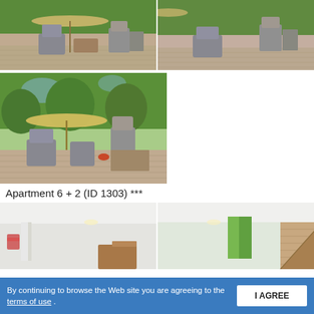[Figure (photo): Outdoor patio area with grey rattan chairs, umbrella, and BBQ/pizza oven in a garden setting - left photo]
[Figure (photo): Outdoor patio area with grey rattan chairs, umbrella, and BBQ/pizza oven in a garden setting - right photo]
[Figure (photo): Outdoor patio area with umbrella, grey rattan chairs, and stone pizza oven, lush garden in background - larger left photo]
Apartment 6 + 2 (ID 1303) ***
[Figure (photo): Interior room with white walls, curtains, and wooden furniture - left]
[Figure (photo): Interior room with green curtains, white walls, and wooden staircase - right]
By continuing to browse the Web site you are agreeing to the terms of use .